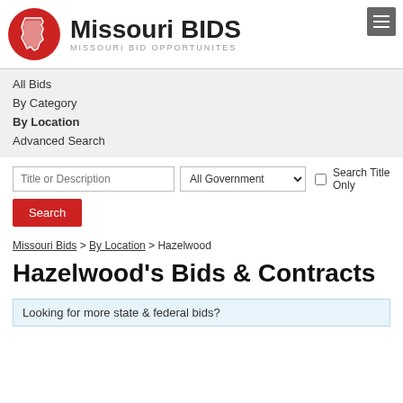[Figure (logo): Missouri BIDS logo with red circle containing Missouri state outline in white, beside bold text 'Missouri BIDS' and subtitle 'MISSOURI BID OPPORTUNITES']
All Bids
By Category
By Location
Advanced Search
Title or Description [search input] All Government [dropdown] Search Title Only [checkbox]
Search [button]
Missouri Bids > By Location > Hazelwood
Hazelwood's Bids & Contracts
Looking for more state & federal bids?